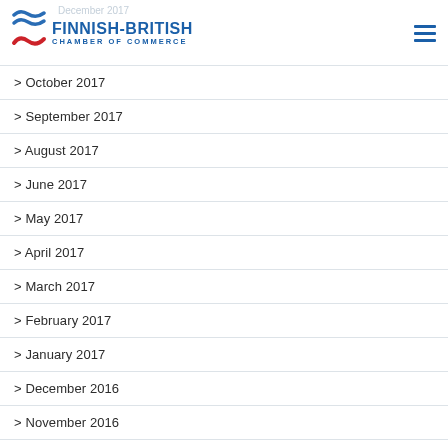Finnish-British Chamber of Commerce
> October 2017
> September 2017
> August 2017
> June 2017
> May 2017
> April 2017
> March 2017
> February 2017
> January 2017
> December 2016
> November 2016
> October 2016